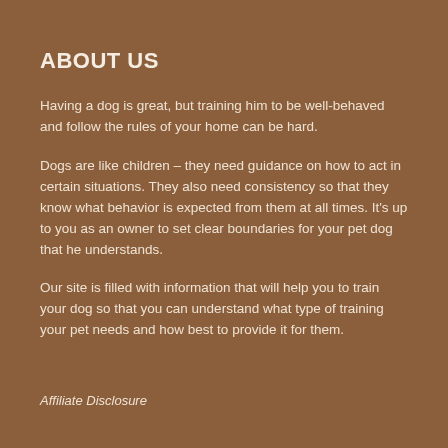ABOUT US
Having a dog is great, but training him to be well-behaved and follow the rules of your home can be hard.
Dogs are like children – they need guidance on how to act in certain situations. They also need consistency so that they know what behavior is expected from them at all times. It's up to you as an owner to set clear boundaries for your pet dog that he understands.
Our site is filled with information that will help you to train your dog so that you can understand what type of training your pet needs and how best to provide it for them.
Affiliate Disclosure